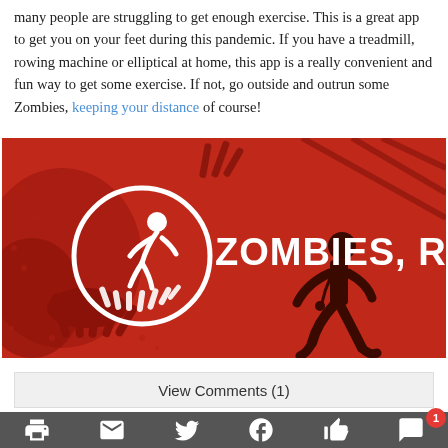many people are struggling to get enough exercise. This is a great app to get you on your feet during this pandemic. If you have a treadmill, rowing machine or elliptical at home, this app is a really convenient and fun way to get some exercise. If not, go outside and outrun some Zombies, keeping your distance of course!
[Figure (illustration): Zombies, Run! app promotional image — red background with zombie hand silhouettes, a running person silhouette with headphones, and the Zombies, Run! logo in white.]
View Comments (1)